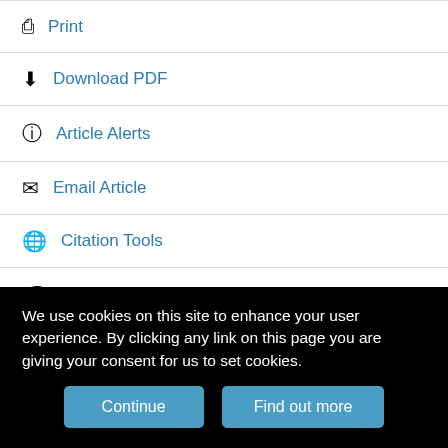Print
Download PDF
Article Alerts
Email Article
Citation Tools
Request Permissions
Share
Tweet
We use cookies on this site to enhance your user experience. By clicking any link on this page you are giving your consent for us to set cookies.
Continue
Find out more